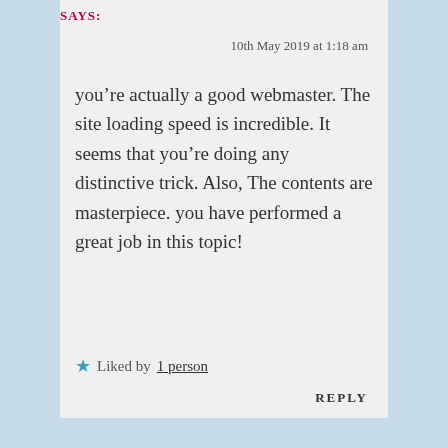SAYS:
10th May 2019 at 1:18 am
you’re actually a good webmaster. The site loading speed is incredible. It seems that you’re doing any distinctive trick. Also, The contents are masterpiece. you have performed a great job in this topic!
★ Liked by 1 person
REPLY